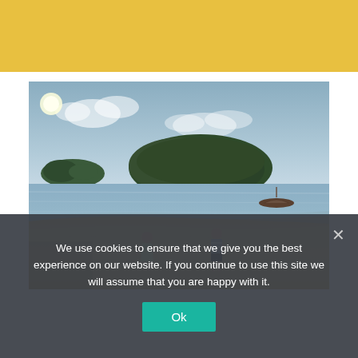[Figure (other): Yellow/golden banner header background]
[Figure (photo): Beach scene with two children standing on sandy shore, calm ocean water, island silhouettes in the background, overcast sky with clouds, a small boat on the water]
We use cookies to ensure that we give you the best experience on our website. If you continue to use this site we will assume that you are happy with it.